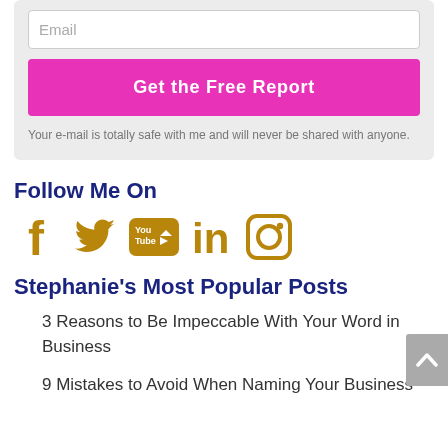Email
Get the Free Report
Your e-mail is totally safe with me and will never be shared with anyone.
Follow Me On
[Figure (illustration): Row of social media icons in gold/yellow: Facebook (f), Twitter (bird), YouTube (You Tube), LinkedIn (in), Instagram (camera)]
Stephanie's Most Popular Posts
3 Reasons to Be Impeccable With Your Word in Business
9 Mistakes to Avoid When Naming Your Business